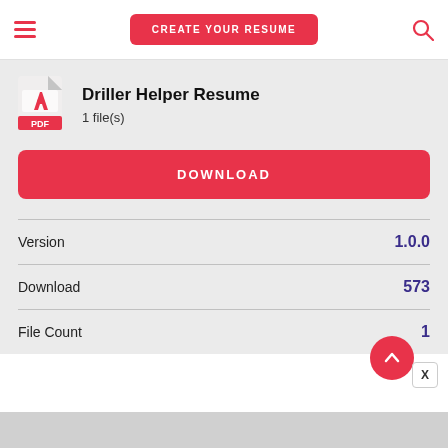CREATE YOUR RESUME
Driller Helper Resume
1 file(s)
DOWNLOAD
| Field | Value |
| --- | --- |
| Version | 1.0.0 |
| Download | 573 |
| File Count | 1 |